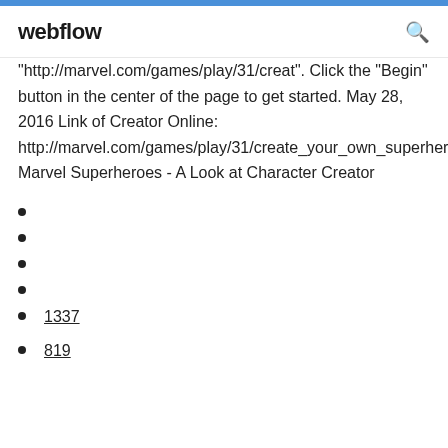webflow
"http://marvel.com/games/play/31/creat". Click the "Begin" button in the center of the page to get started. May 28, 2016 Link of Creator Online: http://marvel.com/games/play/31/create_your_own_superhero Marvel Superheroes - A Look at Character Creator
1337
819